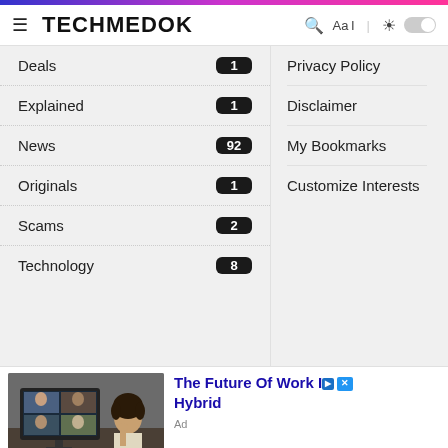TECHMEDOK
Deals 1
Explained 1
News 92
Originals 1
Scams 2
Technology 8
Privacy Policy
Disclaimer
My Bookmarks
Customize Interests
[Figure (photo): Advertisement photo showing a person at a desk with a video call on a monitor. Text reads: The Future Of Work Is Hybrid]
Ad